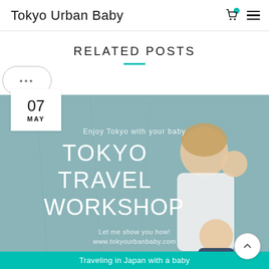Tokyo Urban Baby
RELATED POSTS
[Figure (photo): A woman holding a baby with a child embracing her, standing against a teal wall, with text overlay: 'Enjoy Tokyo with your baby', 'TOKYO TRAVEL WORKSHOP', 'Let me show you how! www.tokyourbanbaby.com']
Traveling in Japan with a baby